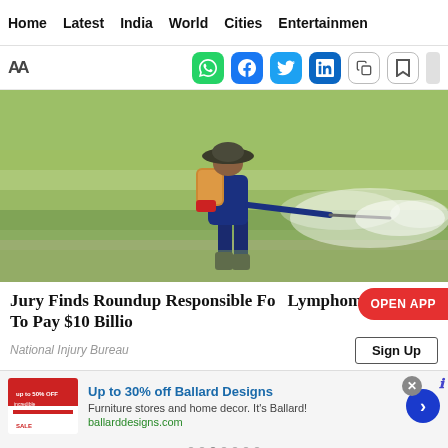Home  Latest  India  World  Cities  Entertainment
[Figure (screenshot): Social sharing toolbar with WhatsApp, Facebook, Twitter, LinkedIn, copy, and bookmark icons]
[Figure (photo): Farmer spraying pesticide/herbicide in a rice paddy field with a backpack sprayer]
Jury Finds Roundup Responsible For Lymphoma | Bayer To Pay $10 Billion
National Injury Bureau
[Figure (infographic): OPEN APP button (red pill-shaped button) and Sign Up button]
Up to 30% off Ballard Designs
Furniture stores and home decor. It's Ballard!
ballarddesigns.com